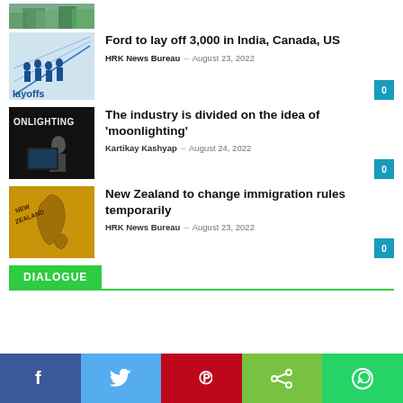[Figure (photo): Partial top image showing green foliage]
[Figure (photo): Layoffs themed image with silhouettes and blue graph background, text 'Layoffs']
Ford to lay off 3,000 in India, Canada, US
HRK News Bureau – August 23, 2022
[Figure (photo): Dark image with text 'ONLIGHTING' and person at computer, moonlighting theme]
The industry is divided on the idea of 'moonlighting'
Kartikay Kashyap – August 24, 2022
[Figure (photo): Map of New Zealand on yellow/golden background]
New Zealand to change immigration rules temporarily
HRK News Bureau – August 23, 2022
DIALOGUE
[Figure (other): Social media share bar with Facebook, Twitter, Pinterest, Share, WhatsApp buttons]